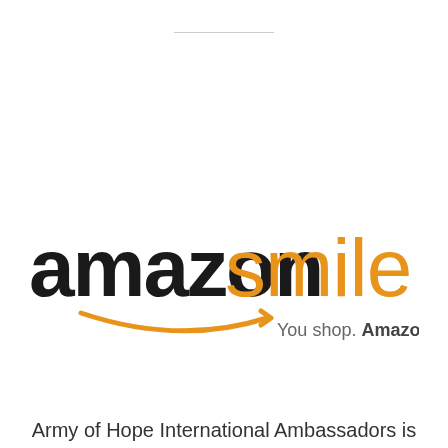[Figure (logo): Amazon Smile logo with orange smile/arrow graphic and tagline 'You shop. Amazon gives.']
Army of Hope International Ambassadors is